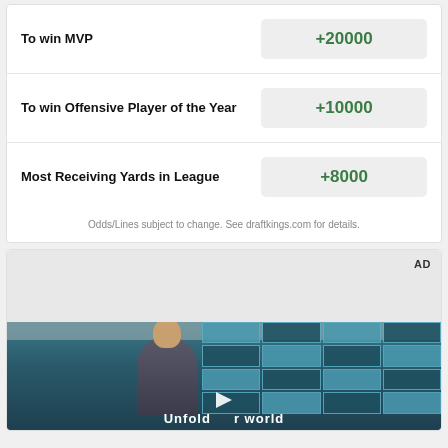| Bet Type | Odds |
| --- | --- |
| To win MVP | +20000 |
| To win Offensive Player of the Year | +10000 |
| Most Receiving Yards in League | +8000 |
Odds/Lines subject to change. See draftkings.com for details.
[Figure (photo): Advertisement banner showing a young man in a denim jacket standing in front of a blue tile wall. Text reads 'Unfold your world'. AD label in top right corner.]